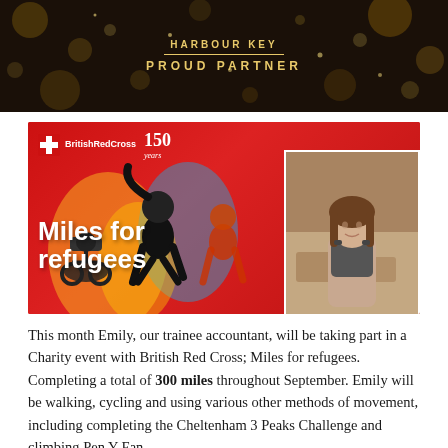[Figure (illustration): Dark banner with golden bokeh/sparkle background showing 'HARBOUR KEY' text above a horizontal divider line and 'PROUD PARTNER' text below, both in gold lettering]
[Figure (photo): British Red Cross '150 years' branded banner for 'Miles for refugees' charity event. Red background with athletes running and cycling in colorful graphic style, plus inset photo of a young woman (Emily). BRC logo top left.]
This month Emily, our trainee accountant, will be taking part in a Charity event with British Red Cross; Miles for refugees. Completing a total of 300 miles throughout September. Emily will be walking, cycling and using various other methods of movement, including completing the Cheltenham 3 Peaks Challenge and climbing Pen Y Fan.